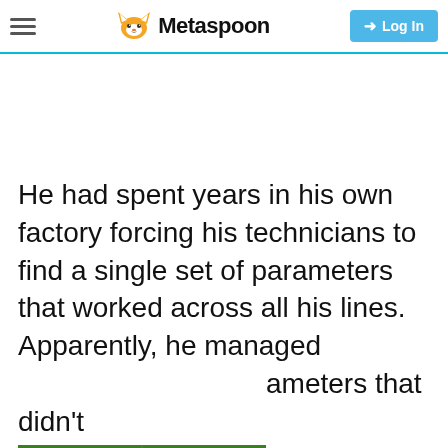Metaspoon
He had spent years in his own factory forcing his technicians to find a single set of parameters that worked across all his lines. Apparently, he managed ameters that didn't nt to catch fire, so om, he had spent
[Figure (screenshot): NFL video thumbnail showing NFL shield logo on green field background with play button overlay. Caption reads: 'The NFL Launches Its Own Streaming Service']